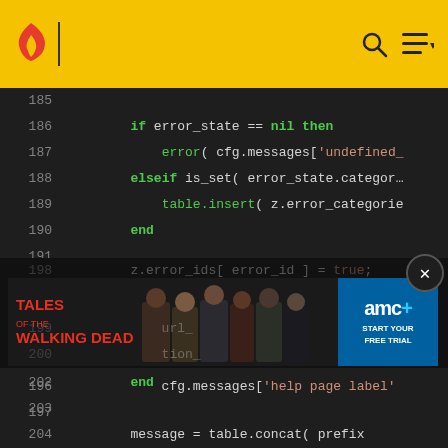Code viewer header with logo and navigation icons
[Figure (screenshot): Code screenshot showing Lua/scripting code lines 185-204 with syntax highlighting on dark background, overlaid by a Tales of the Walking Dead AMC+ advertisement banner]
[Figure (infographic): Tales of the Walking Dead AMC+ advertisement banner with show characters and 'Start Your Free Trial' text]